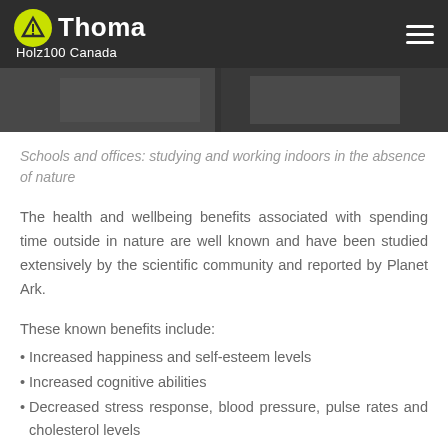Thoma Holz100 Canada
[Figure (photo): Image strip showing indoor school/office scenes in grayscale]
Schools and offices: studying and working indoors in the absence of nature
The health and wellbeing benefits associated with spending time outside in nature are well known and have been studied extensively by the scientific community and reported by Planet Ark.
These known benefits include:
Increased happiness and self-esteem levels
Increased cognitive abilities
Decreased stress response, blood pressure, pulse rates and cholesterol levels
However, increasing urbanization rates mean that people have less access to nature in their daily lives and